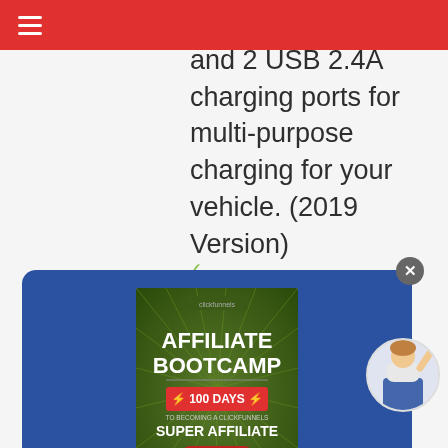≡
and 2 USB 2.4A charging ports for multi-purpose charging for your vehicle. (2019 Version)
[Figure (screenshot): Modal popup on dark blue background with Affiliate Bootcamp book cover image, two input fields (First name, your@email.com), and a red 'DOWNLOAD FREE AFFILIATE GUIDE' button. A close 'x' button is in the top right of the modal. A small avatar of a woman is in the bottom right corner.]
First name
your@email.com
DOWNLOAD FREE AFFILIATE GUIDE